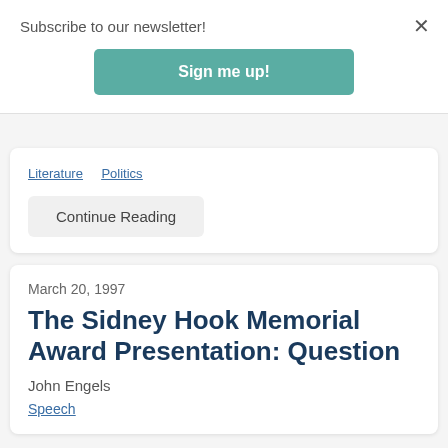Subscribe to our newsletter!
Sign me up!
×
Literature   Politics
Continue Reading
March 20, 1997
The Sidney Hook Memorial Award Presentation: Question
John Engels
Speech